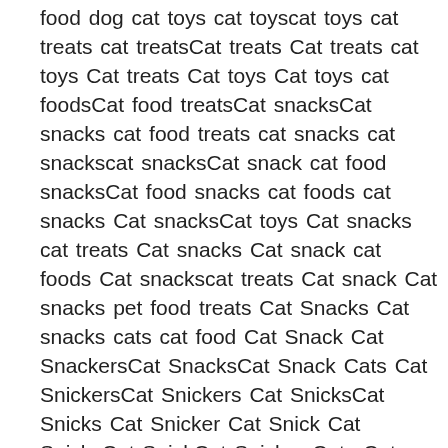food dog cat toys cat toyscat toys cat treats cat treatsCat treats Cat treats cat toys Cat treats Cat toys Cat toys cat foodsCat food treatsCat snacksCat snacks cat food treats cat snacks cat snackscat snacksCat snack cat food snacksCat food snacks cat foods cat snacks Cat snacksCat toys Cat snacks cat treats Cat snacks Cat snack cat foods Cat snackscat treats Cat snack Cat snacks pet food treats Cat Snacks Cat snacks cats cat food Cat Snack Cat SnackersCat SnacksCat Snack Cats Cat SnickersCat Snickers Cat SnicksCat Snicks Cat Snicker Cat Snick Cat SnickyCat SnickCat Snicker Cats Cat snacks Cats Cat food Cat food cat foods cats cat snacks cats food cat snack cat snacks Cats food cat treats cats food Cat snackscats cat food